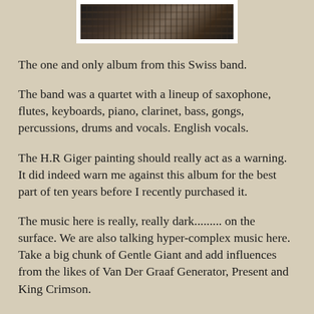[Figure (photo): Partial album cover with H.R. Giger-style dark biomechanical artwork, shown with white border frame at top of page]
The one and only album from this Swiss band.
The band was a quartet with a lineup of saxophone, flutes, keyboards, piano, clarinet, bass, gongs, percussions, drums and vocals. English vocals.
The H.R Giger painting should really act as a warning. It did indeed warn me against this album for the best part of ten years before I recently purchased it.
The music here is really, really dark......... on the surface. We are also talking hyper-complex music here. Take a big chunk of Gentle Giant and add influences from the likes of Van Der Graaf Generator, Present and King Crimson.
Their listing as Eclectic Prog in ProgArchives has seldom been more fitting and precise. This is indeed very eclectic music. All the fifty minutes of this album.